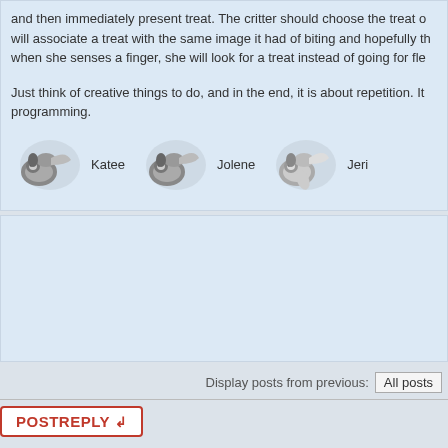and then immediately present treat. The critter should choose the treat or will associate a treat with the same image it had of biting and hopefully the when she senses a finger, she will look for a treat instead of going for fles
Just think of creative things to do, and in the end, it is about repetition. It programming.
[Figure (illustration): Three sugar glider avatars labeled Katee, Jolene, and Jeri]
[Figure (other): Advertisement block placeholder]
Display posts from previous: All posts
POSTREPLY
SIMILAR TOPICS
new sugar glider bed
by SugarandSpice89 » Tue Oct 27, 2015 6:31 pm in Sugar Glider - General
Christmas Sugar Glider ^^
by helen234 » Fri Dec 04, 2015 7:09 pm in Buy - Sell - Trade